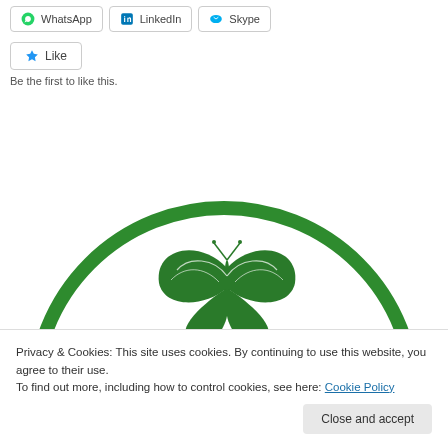[Figure (screenshot): Social share buttons row: WhatsApp, LinkedIn, Skype]
[Figure (screenshot): Like button with star icon]
Be the first to like this.
[Figure (logo): Green circular logo with butterfly and landscape, partially visible]
Privacy & Cookies: This site uses cookies. By continuing to use this website, you agree to their use.
To find out more, including how to control cookies, see here: Cookie Policy
Close and accept